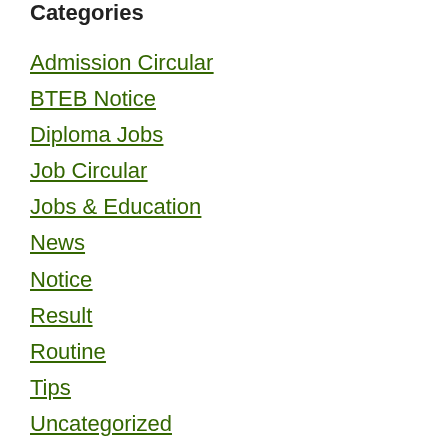Categories
Admission Circular
BTEB Notice
Diploma Jobs
Job Circular
Jobs & Education
News
Notice
Result
Routine
Tips
Uncategorized